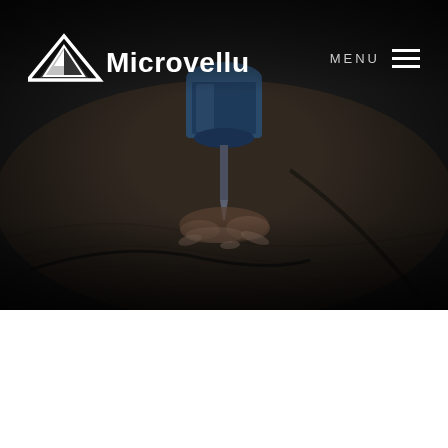[Figure (photo): Dark overhead photo of a CNC router/drill bit cutting into a wood panel surface, with wood shavings visible. Dark vignette overlay.]
Microvellum  MENU